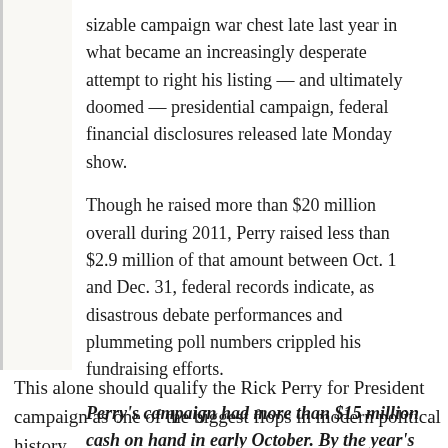sizable campaign war chest late last year in what became an increasingly desperate attempt to right his listing — and ultimately doomed — presidential campaign, federal financial disclosures released late Monday show.
Though he raised more than $20 million overall during 2011, Perry raised less than $2.9 million of that amount between Oct. 1 and Dec. 31, federal records indicate, as disastrous debate performances and plummeting poll numbers crippled his fundraising efforts.
Perry's campaign had more than $15 million cash on hand in early October. By the year's end, that dwindled to less than $3.77 million.
This alone should qualify the Rick Perry for President campaign as one of the biggest flops in modern political history.